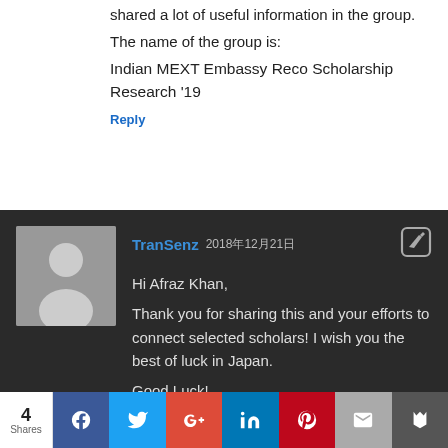shared a lot of useful information in the group.
The name of the group is:
Indian MEXT Embassy Reco Scholarship Research '19
Reply
TranSenz 2018年12月21日
Hi Afraz Khan,
Thank you for sharing this and your efforts to connect selected scholars! I wish you the best of luck in Japan.
Good Luck!
– Travis from TranSenz
Reply